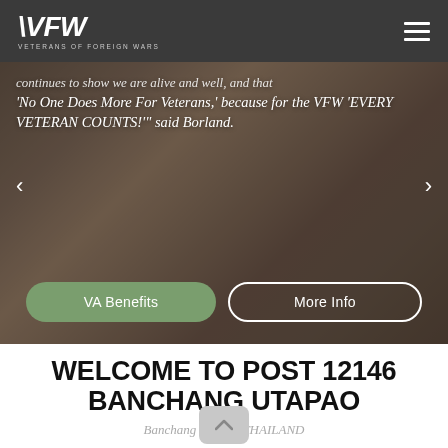VFW Veterans of Foreign Wars
[Figure (screenshot): Hero banner with people in casual clothes holding flags, dark overlay, showing partial scrolled quote text and two CTA buttons: VA Benefits and More Info]
continues to show we are alive and well, and that 'No One Does More For Veterans,' because for the VFW 'EVERY VETERAN COUNTS!" said Borland.
WELCOME TO POST 12146 BANCHANG UTAPAO
Banchang Rayong THAILAND